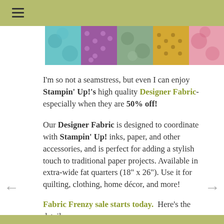≡
[Figure (photo): Colorful rolls of patterned fabric in various colors including teal, purple, green, gold, and pink]
I'm so not a seamstress, but even I can enjoy Stampin' Up!'s high quality Designer Fabric- especially when they are 50% off!
Our Designer Fabric is designed to coordinate with Stampin' Up! inks, paper, and other accessories, and is perfect for adding a stylish touch to traditional paper projects. Available in extra-wide fat quarters (18" x 26"). Use it for quilting, clothing, home décor, and more!
Fabric Frenzy sale starts today.  Here's the details.